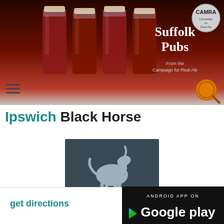Suffolk Pubs — From the Campaign for Real Ale
Ipswich Black Horse
[Figure (photo): The Black Horse pub sign — dark background with a rearing white horse illustration and text reading THE BLACK HORSE TRADITIONAL PUB & DINING]
get directions
[Figure (logo): Android App on Google Play badge]